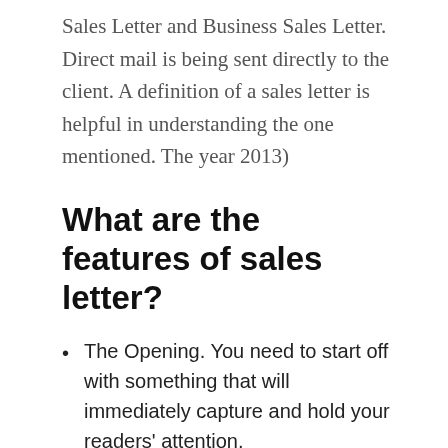Sales Letter and Business Sales Letter. Direct mail is being sent directly to the client. A definition of a sales letter is helpful in understanding the one mentioned. The year 2013)
What are the features of sales letter?
The Opening. You need to start off with something that will immediately capture and hold your readers’ attention.
The Description or Explanation.
The Motive or Reason Why.
The Proof or Guarantee.
The Snapper or Penalty.
The Close.